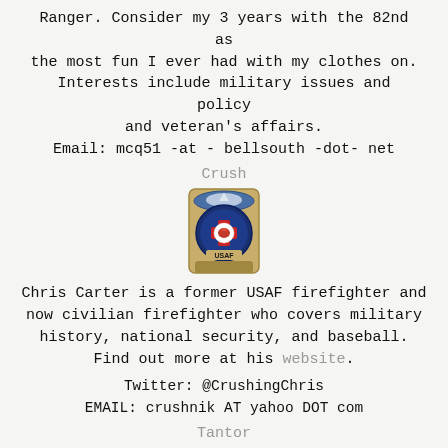Ranger. Consider my 3 years with the 82nd as the most fun I ever had with my clothes on. Interests include military issues and policy and veteran's affairs. Email: mcq51 -at - bellsouth -dot- net
Crush
[Figure (photo): USAF firefighter badge/patch - circular emblem with red cross and eagle on blue and gold background with 'USAF' text]
Chris Carter is a former USAF firefighter and now civilian firefighter who covers military history, national security, and baseball. Find out more at his website.
Twitter: @CrushingChris
EMAIL: crushnik AT yahoo DOT com
Tantor
[Figure (photo): Close-up photograph of an elephant's eye showing detailed wrinkled skin texture in grayscale tones]